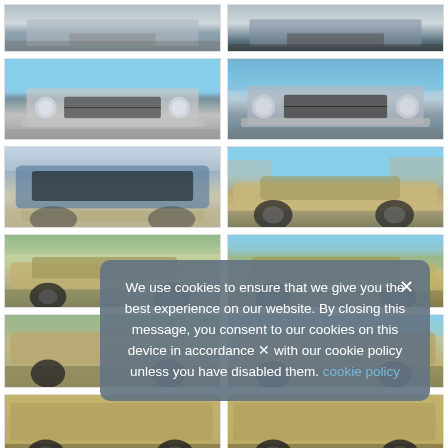[Figure (photo): Grid of classic car photos (front, side, and detail views) partially covered by a cookie consent overlay. Row 1: Two partial crop photos of car front/hood areas. Row 2: Two front-facing photos of a classic car with round headlights and chrome grille. Row 3: Two photos - left shows top/roof of a dark blue classic car, right shows side profile of a gold/tan muscle car. Row 4: Two side-view photos of classic gold/tan cars. Row 5: Two more side-view photos partially obscured by cookie overlay. Row 6: Two bottom partial photos of gold/tan classic cars.]
We use cookies to ensure that we give you the best experience on our website. By closing this message, you consent to our cookies on this device in accordance with our cookie policy unless you have disabled them. cookie policy